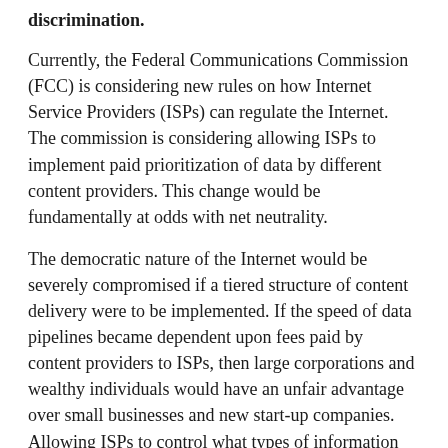discrimination.
Currently, the Federal Communications Commission (FCC) is considering new rules on how Internet Service Providers (ISPs) can regulate the Internet. The commission is considering allowing ISPs to implement paid prioritization of data by different content providers. This change would be fundamentally at odds with net neutrality.
The democratic nature of the Internet would be severely compromised if a tiered structure of content delivery were to be implemented. If the speed of data pipelines became dependent upon fees paid by content providers to ISPs, then large corporations and wealthy individuals would have an unfair advantage over small businesses and new start-up companies. Allowing ISPs to control what types of information are distributed online and how people access that information would give ISPs unprecedented power over the control of information, severely limit innovation, and put a drag on our economy. Our information society would begin to resemble those of totalitarian states.